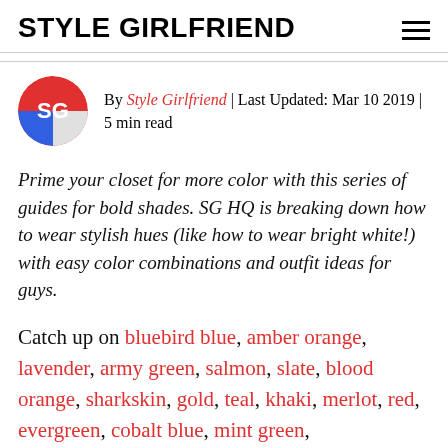STYLE GIRLFRIEND
By Style Girlfriend | Last Updated: Mar 10 2019 | 5 min read
Prime your closet for more color with this series of guides for bold shades. SG HQ is breaking down how to wear stylish hues (like how to wear bright white!) with easy color combinations and outfit ideas for guys.
Catch up on bluebird blue, amber orange, lavender, army green, salmon, slate, blood orange, sharkskin, gold, teal, khaki, merlot, red, evergreen, cobalt blue, mint green,